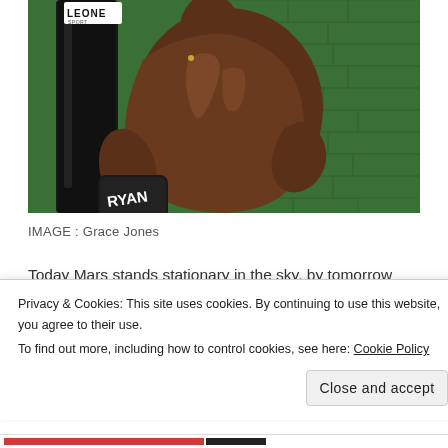[Figure (photo): Black and white / color photo of Grace Jones from behind, muscular back, wearing boxing gloves, against a green brick wall background with a boxing bag visible on the left. Leone brand visible at top. RYAN text on boxing glove.]
IMAGE : Grace Jones
Today Mars stands stationary in the sky, by tomorrow Mars makes his move to retrieve something that can't be left behind, retrieve
Privacy & Cookies: This site uses cookies. By continuing to use this website, you agree to their use.
To find out more, including how to control cookies, see here: Cookie Policy
Close and accept